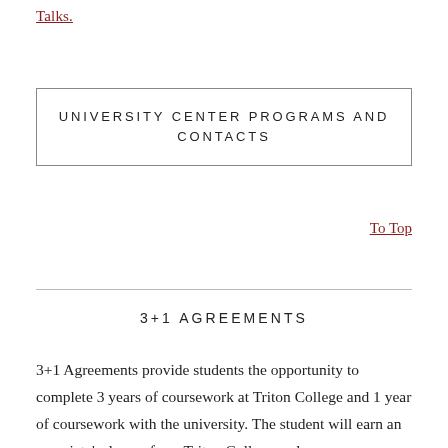Talks.
UNIVERSITY CENTER PROGRAMS AND CONTACTS
To Top
3+1 AGREEMENTS
3+1 Agreements provide students the opportunity to complete 3 years of coursework at Triton College and 1 year of coursework with the university. The student will earn an associate’s degree from Triton College and